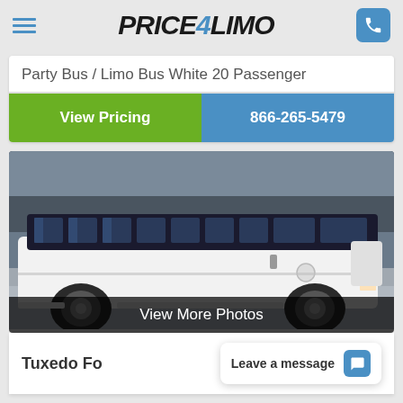Price4Limo
Party Bus / Limo Bus White 20 Passenger
View Pricing
866-265-5479
[Figure (photo): White stretch limousine bus photographed from the side, showing multiple windows along the top and a long white body]
View More Photos
Tuxedo Fo
Leave a message